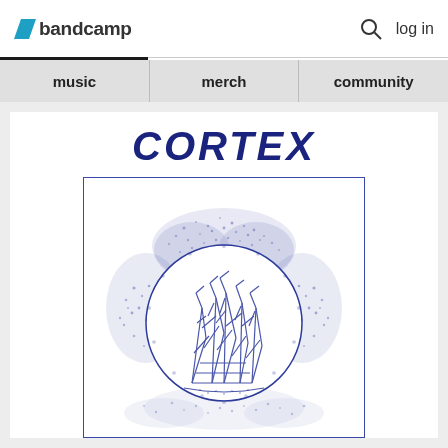bandcamp  log in
music | merch | community
CORTEX
[Figure (illustration): Album artwork for Cortex showing a circular stipple illustration with abstract tall thin structures resembling cranes or angular sculptures inside a circle, surrounded by organic cloud-like or brain-like dotted textures, all rendered in dark blue ink on white background, within a blue-bordered rectangle.]